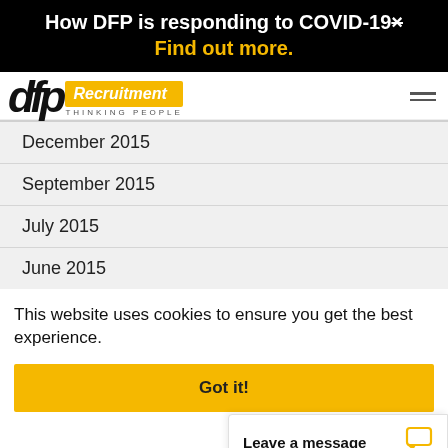How DFP is responding to COVID-19× Find out more.
[Figure (logo): DFP Recruitment logo with yellow badge reading 'Recruitment' in italic and tagline 'THINKING PEOPLE']
December 2015
September 2015
July 2015
June 2015
This website uses cookies to ensure you get the best experience.
Got it!
Leave a message